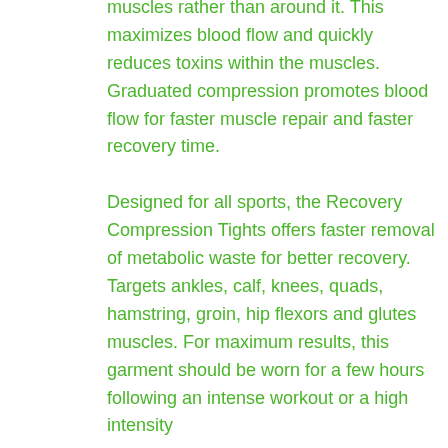muscles rather than around it. This maximizes blood flow and quickly reduces toxins within the muscles. Graduated compression promotes blood flow for faster muscle repair and faster recovery time.
Designed for all sports, the Recovery Compression Tights offers faster removal of metabolic waste for better recovery. Targets ankles, calf, knees, quads, hamstring, groin, hip flexors and glutes muscles. For maximum results, this garment should be worn for a few hours following an intense workout or a high intensity